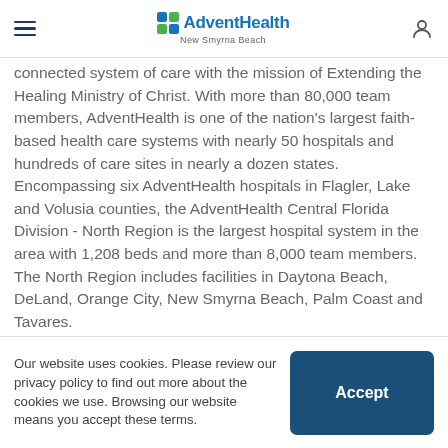AdventHealth New Smyrna Beach
connected system of care with the mission of Extending the Healing Ministry of Christ. With more than 80,000 team members, AdventHealth is one of the nation's largest faith-based health care systems with nearly 50 hospitals and hundreds of care sites in nearly a dozen states. Encompassing six AdventHealth hospitals in Flagler, Lake and Volusia counties, the AdventHealth Central Florida Division - North Region is the largest hospital system in the area with 1,208 beds and more than 8,000 team members. The North Region includes facilities in Daytona Beach, DeLand, Orange City, New Smyrna Beach, Palm Coast and Tavares.
Photo Caption:
Our website uses cookies. Please review our privacy policy to find out more about the cookies we use. Browsing our website means you accept these terms.